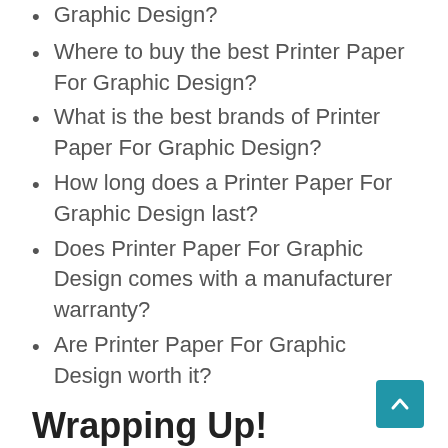Graphic Design?
Where to buy the best Printer Paper For Graphic Design?
What is the best brands of Printer Paper For Graphic Design?
How long does a Printer Paper For Graphic Design last?
Does Printer Paper For Graphic Design comes with a manufacturer warranty?
Are Printer Paper For Graphic Design worth it?
Wrapping Up!
Now you have a better idea about the Best Printer Paper For Graphic Design. Hopefully, choosing one will be an easy task for you. For the best experience, follow our advice and recommendations. It will help